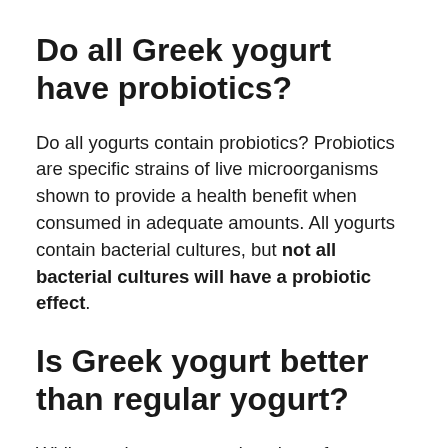Do all Greek yogurt have probiotics?
Do all yogurts contain probiotics? Probiotics are specific strains of live microorganisms shown to provide a health benefit when consumed in adequate amounts. All yogurts contain bacterial cultures, but not all bacterial cultures will have a probiotic effect.
Is Greek yogurt better than regular yogurt?
While regular yogurt tends to have fewer calories and more calcium, Greek yogurt has